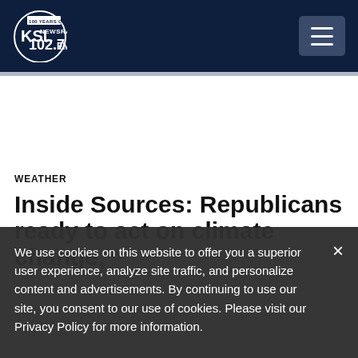KSL NewsRadio 102.7FM
WEATHER
Inside Sources: Republicans ready to act on climate change,
We use cookies on this website to offer you a superior user experience, analyze site traffic, and personalize content and advertisements. By continuing to use our site, you consent to our use of cookies. Please visit our Privacy Policy for more information.